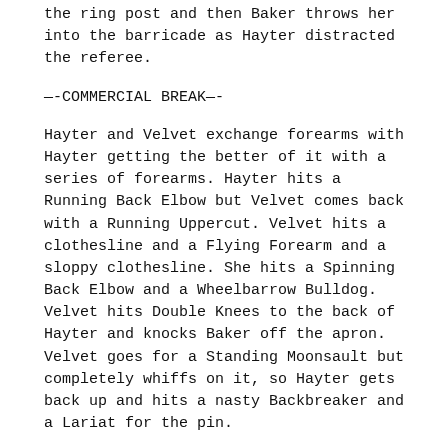the ring post and then Baker throws her into the barricade as Hayter distracted the referee.
—-COMMERCIAL BREAK—-
Hayter and Velvet exchange forearms with Hayter getting the better of it with a series of forearms. Hayter hits a Running Back Elbow but Velvet comes back with a Running Uppercut. Velvet hits a clothesline and a Flying Forearm and a sloppy clothesline. She hits a Spinning Back Elbow and a Wheelbarrow Bulldog. Velvet hits Double Knees to the back of Hayter and knocks Baker off the apron. Velvet goes for a Standing Moonsault but completely whiffs on it, so Hayter gets back up and hits a nasty Backbreaker and a Lariat for the pin.
Winner: Hayter via pinfall (Lariat)